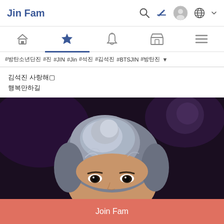Jin Fam
#방탄소년단진 #진 #JIN #Jin #석진 #김석진 #BTSJIN #방탄진
김석진 사랑해🔴
행복만하길
[Figure (photo): Close-up photo of a young Korean man with grayish-silver layered hair against a dark background with a purple tint and soft bokeh lighting]
Join Fam